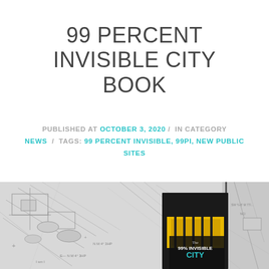99 PERCENT INVISIBLE CITY BOOK
PUBLISHED AT OCTOBER 3, 2020 / IN CATEGORY NEWS / TAGS: 99 PERCENT INVISIBLE, 99PI, NEW PUBLIC SITES
[Figure (illustration): Collage of architectural drawings and urban sketches showing street plans and city scenes, with a book cover inset showing 'The 99% Invisible City' in the center, featuring yellow-lit storefronts and city architectural line drawings.]